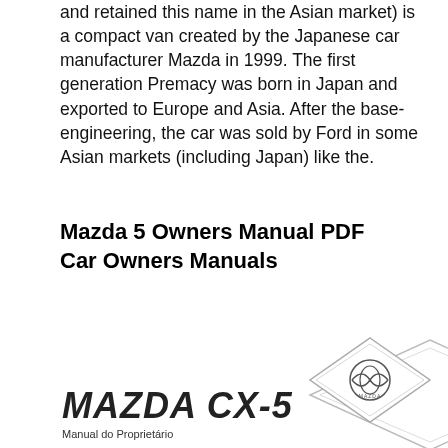and retained this name in the Asian market) is a compact van created by the Japanese car manufacturer Mazda in 1999. The first generation Premacy was born in Japan and exported to Europe and Asia. After the base-engineering, the car was sold by Ford in some Asian markets (including Japan) like the.
Mazda 5 Owners Manual PDF Car Owners Manuals
[Figure (logo): Mazda diamond logo and Mazda CX-5 Manual do Proprietário book cover image]